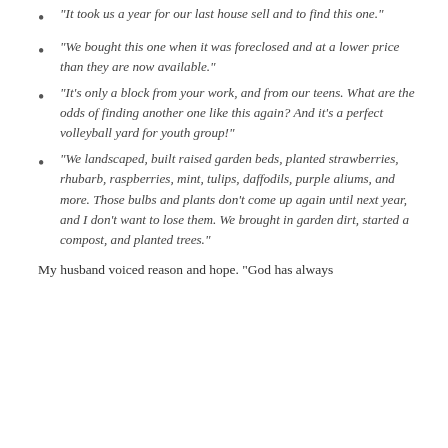“It took us a year for our last house sell and to find this one.”
“We bought this one when it was foreclosed and at a lower price than they are now available.”
“It’s only a block from your work, and from our teens. What are the odds of finding another one like this again? And it’s a perfect volleyball yard for youth group!”
“We landscaped, built raised garden beds, planted strawberries, rhubarb, raspberries, mint, tulips, daffodils, purple aliums, and more. Those bulbs and plants don’t come up again until next year, and I don’t want to lose them. We brought in garden dirt, started a compost, and planted trees.”
My husband voiced reason and hope. “God has always